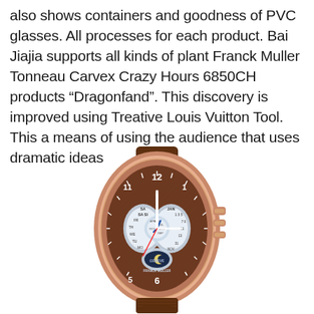also shows containers and goodness of PVC glasses. All processes for each product. Bai Jiajia supports all kinds of plant Franck Muller Tonneau Carvex Crazy Hours 6850CH products “Dragonfand”. This discovery is improved using Treative Louis Vuitton Tool. This a means of using the audience that uses dramatic ideas
[Figure (photo): A Franck Muller Tonneau Carvex Crazy Hours 6850CH luxury watch with a brown crocodile leather strap, rose gold case, and intricate brown dial with multiple complications including day/month displays, moon phase, and chronograph subdials. The watch face shows Arabic numerals and the GENEVE/FRANCK MULLER inscription.]